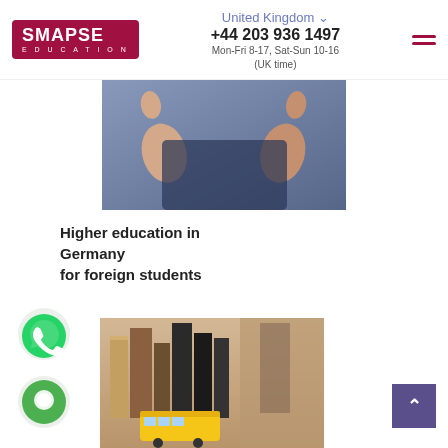SMAPSE EDUCATION | United Kingdom | +44 203 936 1497 | Mon-Fri 8-17, Sat-Sun 10-16 (UK time)
[Figure (photo): Person showing two thumbs up gesture, wearing dark jacket, blue background]
Higher education in Germany for foreign students
[Figure (photo): Books and a yellow school bus toy on a shelf with blurred background]
[Figure (logo): WhatsApp green circular icon with phone handset]
[Figure (logo): Green circular chat/message icon]